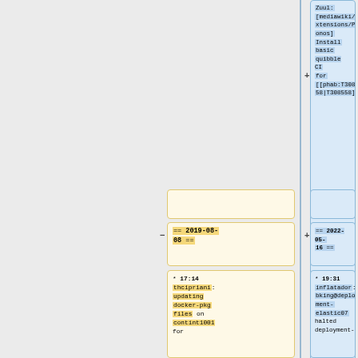Zuul: [mediawiki/extensions/Phonos] Install basic quibble CI for [[phab:T308558|T308558]]
== 2019-08-08 ==
== 2022-05-16 ==
* 17:14 thcipriani: updating docker-pkg files on contint1001 for
* 19:31 inflatador: bking@deployment-elastic07 halted deployment-